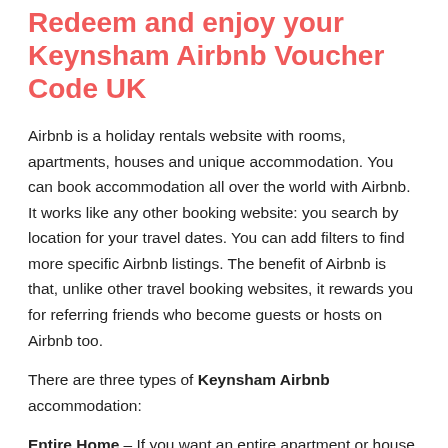Redeem and enjoy your Keynsham Airbnb Voucher Code UK
Airbnb is a holiday rentals website with rooms, apartments, houses and unique accommodation. You can book accommodation all over the world with Airbnb. It works like any other booking website: you search by location for your travel dates. You can add filters to find more specific Airbnb listings. The benefit of Airbnb is that, unlike other travel booking websites, it rewards you for referring friends who become guests or hosts on Airbnb too.
There are three types of Keynsham Airbnb accommodation:
Entire Home – If you want an entire apartment or house to yourself, search for "Entire Home."
Private Room – A private room is a room that is within the host's house. The bedroom is entirely your's but other rooms are shared